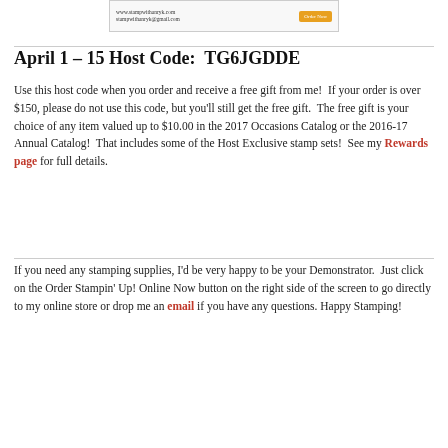[Figure (screenshot): A web form/widget showing a URL and email address 'stampwithanryk@gmail.com' with an orange button]
April 1 – 15 Host Code:  TG6JGDDE
Use this host code when you order and receive a free gift from me!  If your order is over $150, please do not use this code, but you'll still get the free gift.  The free gift is your choice of any item valued up to $10.00 in the 2017 Occasions Catalog or the 2016-17 Annual Catalog!  That includes some of the Host Exclusive stamp sets!  See my Rewards page for full details.
If you need any stamping supplies, I'd be very happy to be your Demonstrator.  Just click on the Order Stampin' Up! Online Now button on the right side of the screen to go directly to my online store or drop me an email if you have any questions. Happy Stamping!